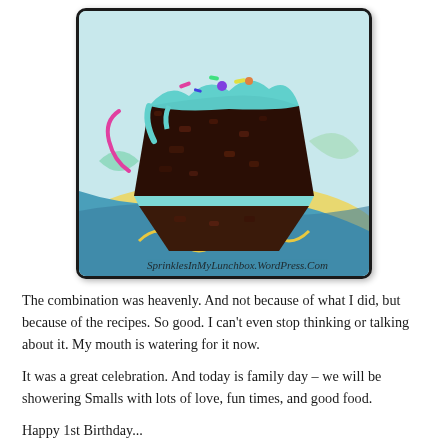[Figure (photo): A photo of a slice of chocolate layer cake with teal/blue frosting and colorful sprinkles on top, placed on a colorful plate. Watermark reads 'SprinklesInMyLunchbox.WordPress.Com']
The combination was heavenly. And not because of what I did, but because of the recipes. So good. I can't even stop thinking or talking about it. My mouth is watering for it now.
It was a great celebration. And today is family day – we will be showering Smalls with lots of love, fun times, and good food.
Happy 1st Birthday...